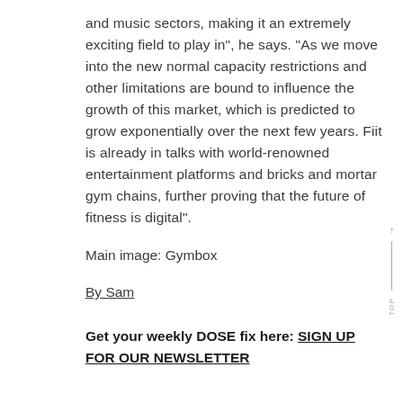and music sectors, making it an extremely exciting field to play in", he says. "As we move into the new normal capacity restrictions and other limitations are bound to influence the growth of this market, which is predicted to grow exponentially over the next few years. Fiit is already in talks with world-renowned entertainment platforms and bricks and mortar gym chains, further proving that the future of fitness is digital".
Main image: Gymbox
By Sam
Get your weekly DOSE fix here: SIGN UP FOR OUR NEWSLETTER